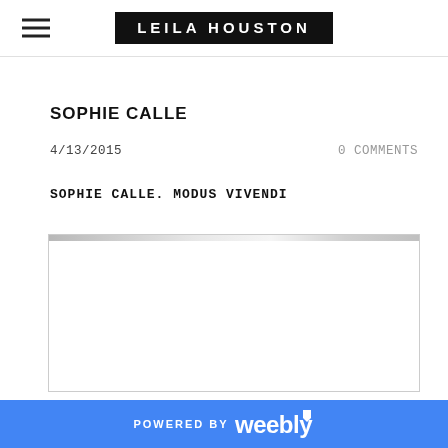LEILA HOUSTON
SOPHIE CALLE
4/13/2015   0 COMMENTS
SOPHIE CALLE. MODUS VIVENDI
[Figure (photo): White rectangle with metallic/silver top edge bar — partially loaded or blank image area]
POWERED BY weebly